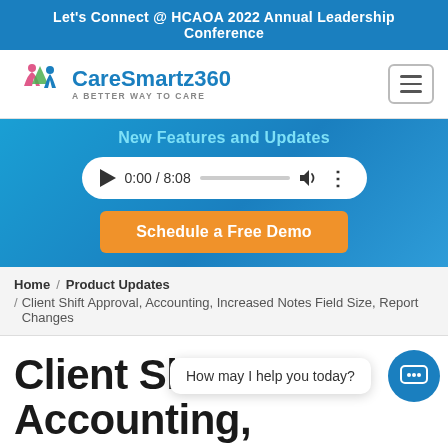Let's Connect @ HCAOA 2022 Annual Leadership Conference
[Figure (logo): CareSmartz360 logo with tagline A BETTER WAY TO CARE]
[Figure (screenshot): Hero section with New Features and Updates heading, audio player showing 0:00 / 8:08, and Schedule a Free Demo button]
Home / Product Updates / Client Shift Approval, Accounting, Increased Notes Field Size, Report Changes
Client Shift Approval, Accounting, Increased Notes Field Size, Report Changes
How may I help you today?